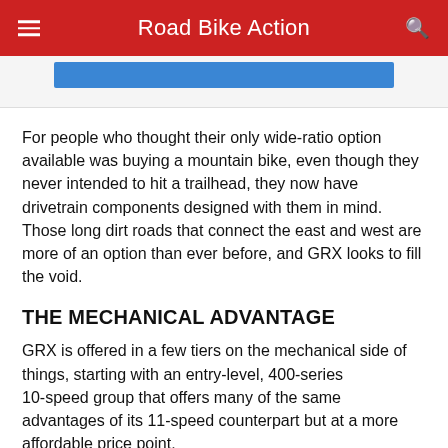Road Bike Action
[Figure (screenshot): Blue button/advertisement strip partially visible at top of content area]
For people who thought their only wide-ratio option available was buying a mountain bike, even though they never intended to hit a trailhead, they now have drivetrain components designed with them in mind. Those long dirt roads that connect the east and west are more of an option than ever before, and GRX looks to fill the void.
THE MECHANICAL ADVANTAGE
GRX is offered in a few tiers on the mechanical side of things, starting with an entry-level, 400-series 10-speed group that offers many of the same advantages of its 11-speed counterpart but at a more affordable price point. Moving into 11-speed, there is the 600 series that offers a 1x 40t or 2x 46/30t crankset, as well as its own dedicated levers that can be used on either 1x or 2x systems.